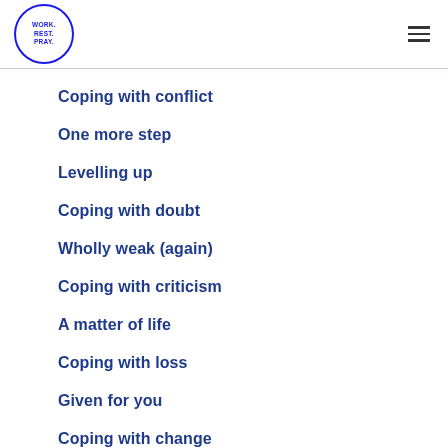WORK. REST. PRAY.
Coping with conflict
One more step
Levelling up
Coping with doubt
Wholly weak (again)
Coping with criticism
A matter of life
Coping with loss
Given for you
Coping with change